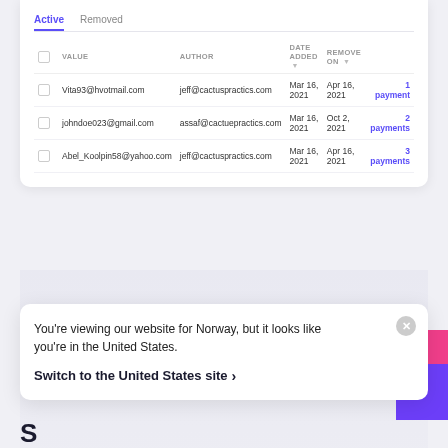TERMS
|  | VALUE | AUTHOR | DATE ADDED | REMOVE ON |  |
| --- | --- | --- | --- | --- | --- |
|  | Vita93@hvotmail.com | jeff@cactuspractics.com | Mar 16, 2021 | Apr 16, 2021 | 1 payment |
|  | johndoe023@gmail.com | assaf@cachepractics.com | Mar 16, 2021 | Oct 2, 2021 | 2 payments |
|  | Abel_Koolpin58@yahoo.com | jeff@cactuspractics.com | Mar 16, 2021 | Apr 16, 2021 | 3 payments |
You're viewing our website for Norway, but it looks like you're in the United States.
Switch to the United States site ›